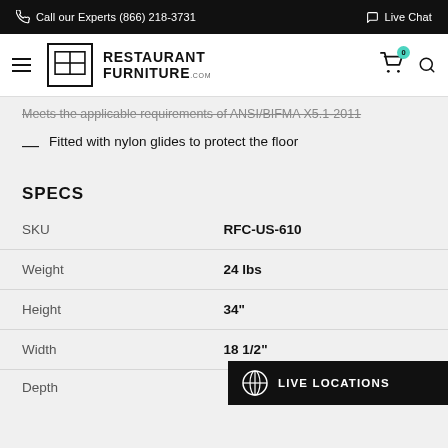Call our Experts (866) 218-3731 | Live Chat
[Figure (logo): Restaurant Furniture .com logo with hamburger menu, cart icon with badge 0, and search icon]
Meets the applicable requirements of ANSI/BIFMA X5.1-2011
Fitted with nylon glides to protect the floor
SPECS
|  |  |
| --- | --- |
| SKU | RFC-US-610 |
| Weight | 24 lbs |
| Height | 34" |
| Width | 18 1/2" |
| Depth |  |